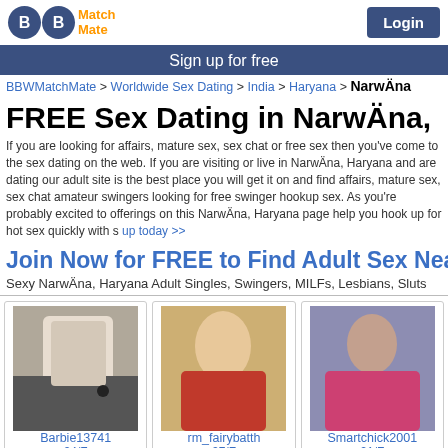[Figure (logo): BBW Match Mate logo with two blue circles containing B letters and orange Match Mate text]
Login
Sign up for free
BBWMatchMate > Worldwide Sex Dating > India > Haryana > NarwÄna
FREE Sex Dating in NarwÄna,
If you are looking for affairs, mature sex, sex chat or free sex then you've come to the sex dating on the web. If you are visiting or live in NarwÄna, Haryana and are dating our adult site is the best place you will get it on and find affairs, mature sex, sex chat amateur swingers looking for free swinger hookup sex. As you're probably excited to offerings on this NarwÄna, Haryana page help you hook up for hot sex quickly with s up today >>
Join Now for FREE to Find Adult Sex Near Na
Sexy NarwÄna, Haryana Adult Singles, Swingers, MILFs, Lesbians, Sluts
[Figure (photo): Profile photo of Barbie13741, 24/F]
[Figure (photo): Profile photo of rm_fairybatth, 27/F]
[Figure (photo): Profile photo of Smartchick2001, 21/F]